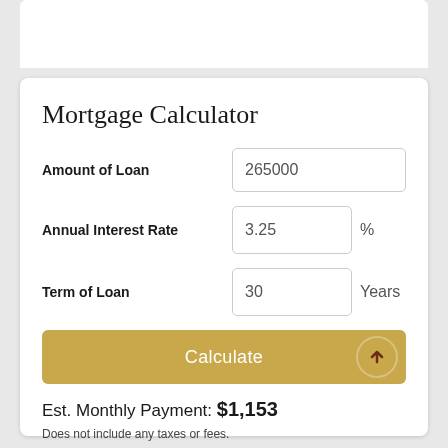Mortgage Calculator
Amount of Loan: 265000
Annual Interest Rate: 3.25 %
Term of Loan: 30 Years
Calculate
Est. Monthly Payment: $1,153
Does not include any taxes or fees.
Please consult a financial professional.
Calculator source: Real Geeks